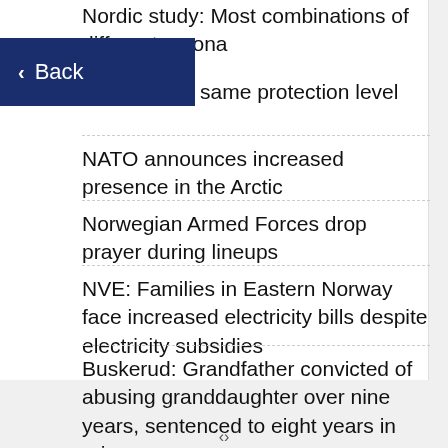Nordic study: Most combinations of different corona same protection level
[Figure (other): Back navigation button with left arrow and 'Back' text on dark navy blue background]
NATO announces increased presence in the Arctic
Norwegian Armed Forces drop prayer during lineups
NVE: Families in Eastern Norway face increased electricity bills despite electricity subsidies
Buskerud: Grandfather convicted of abusing granddaughter over nine years, sentenced to eight years in prison